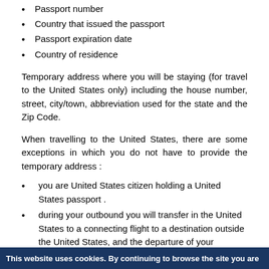Passport number
Country that issued the passport
Passport expiration date
Country of residence
Temporary address where you will be staying (for travel to the United States only) including the house number, street, city/town, abbreviation used for the state and the Zip Code.
When travelling to the United States, there are some exceptions in which you do not have to provide the temporary address :
you are United States citizen holding a United States passport .
during your outbound you will transfer in the United States to a connecting flight to a destination outside the United States, and the departure of your connecting flight will take place within 8 hours after your previous flight lands. In this case, when filling in your address, please enter 'Transit to Non-US country
This website uses cookies. By continuing to browse the site you are